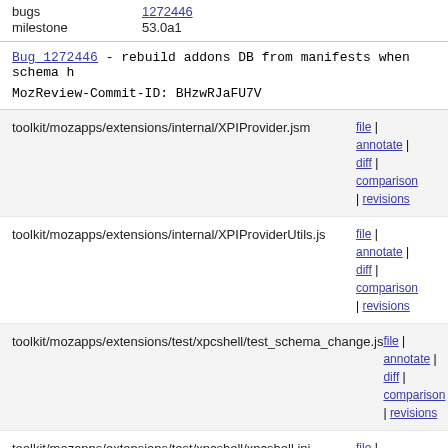| Field | Value |
| --- | --- |
| bugs | 1272446 |
| milestone | 53.0a1 |
Bug 1272446 - rebuild addons DB from manifests when schema h
MozReview-Commit-ID: BHzwRJaFU7V
| File | Links |
| --- | --- |
| toolkit/mozapps/extensions/internal/XPIProvider.jsm | file | annotate | diff | comparison | revisions |
| toolkit/mozapps/extensions/internal/XPIProviderUtils.js | file | annotate | diff | comparison | revisions |
| toolkit/mozapps/extensions/test/xpcshell/test_schema_change.js | file | annotate | diff | comparison | revisions |
| toolkit/mozapps/extensions/test/xpcshell/xpcshell.ini | file | annotate | diff | comparison | revisions |
1.1    --- a/toolkit/mozapps/extensions/internal/XPIProvide
1.2    +++ b/toolkit/mozapps/extensions/internal/XPIProvide
1.3    @@ -3816,17 +3816,18 @@ this.XPIProvider = {
1.4         // from the filesystem